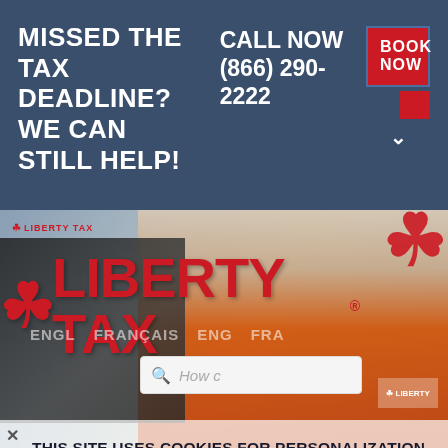MISSED THE TAX DEADLINE? WE CAN STILL HELP!
CALL NOW (866) 290-2222
BOOK NOW
[Figure (photo): Liberty Tax website screenshot showing a smiling man in orange Liberty Tax polo shirt with Liberty Tax logo overlay and cookie consent banner]
THIS SITE USES COOKIES FOR PERSONALIZATION AND TO PROVIDE THE OPTIMAL USER EXPERIENCE AND CONTENT. CLICK ACCEPT TO OPT INTO THIS ENHANCED EXPERIENCE.
ACCEPT